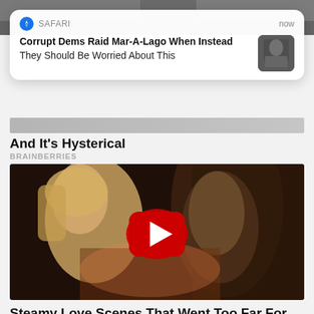[Figure (screenshot): Top portion of a webpage showing a blurred/dark photo strip at the very top]
[Figure (screenshot): iOS Safari browser notification popup reading: 'Corrupt Dems Raid Mar-A-Lago When Instead They Should Be Worried About This' with a thumbnail of a person in a suit]
And It's Hysterical
BRAINBERRIES
[Figure (photo): Video thumbnail showing two people in an intimate scene with a YouTube-style red play button overlay]
Steamy Love Scenes That Went Too Far For Audiences